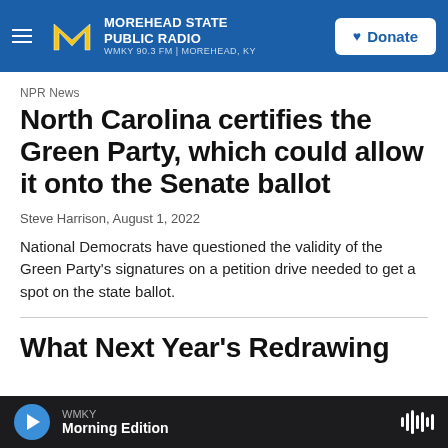Morehead State Public Radio — WMKY 90.3 FM | Morehead, KY — Donate
NPR News
North Carolina certifies the Green Party, which could allow it onto the Senate ballot
Steve Harrison, August 1, 2022
National Democrats have questioned the validity of the Green Party's signatures on a petition drive needed to get a spot on the state ballot.
What Next Year's Redrawing
WMKY — Morning Edition